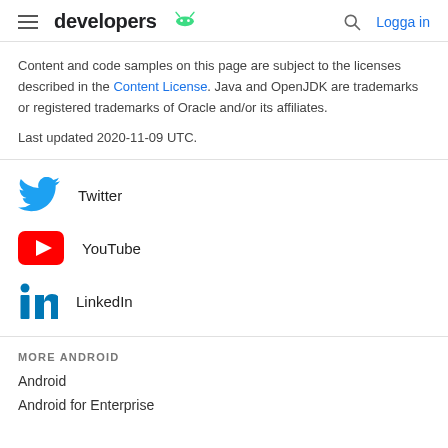developers  Logga in
Content and code samples on this page are subject to the licenses described in the Content License. Java and OpenJDK are trademarks or registered trademarks of Oracle and/or its affiliates.
Last updated 2020-11-09 UTC.
Twitter
YouTube
LinkedIn
MORE ANDROID
Android
Android for Enterprise